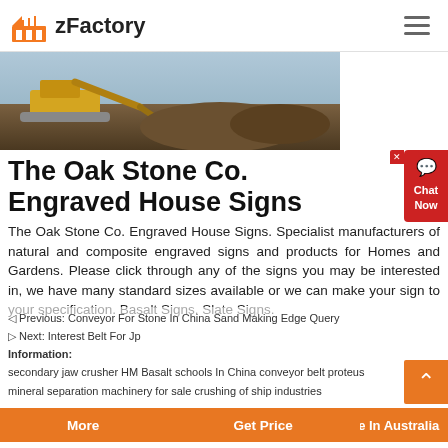zFactory
[Figure (photo): Construction/excavation machinery on dirt terrain, banner image]
The Oak Stone Co. Engraved House Signs
The Oak Stone Co. Engraved House Signs. Specialist manufacturers of natural and composite engraved signs and products for Homes and Gardens. Please click through any of the signs you may be interested in, we have many standard sizes available or we can make your sign to your specification. Basalt Signs. Slate Signs.
Previous: Conveyor For Stone In China Sand Making Edge Query
Next: Interest Belt For Jp
Information:
secondary jaw crusher HM Basalt schools In China conveyor belt proteus
mineral separation machinery for sale crushing of ship industries
Low Price German Technical Cone Crusher Price For Sale In Australia
More    Get Price